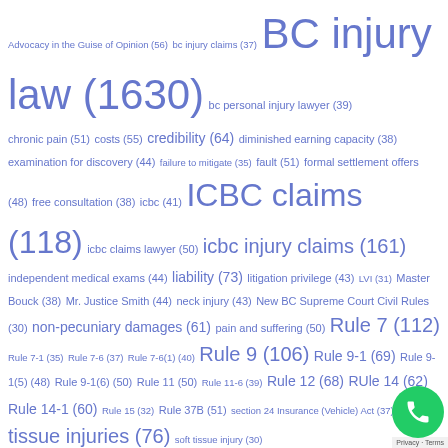Advocacy in the Guise of Opinion (56) bc injury claims (37) BC injury law (1630) bc personal injury lawyer (39) chronic pain (51) costs (55) credibility (64) diminished earning capacity (38) examination for discovery (44) failure to mitigate (35) fault (51) formal settlement offers (48) free consultation (38) icbc (41) ICBC claims (118) icbc claims lawyer (50) icbc injury claims (161) independent medical exams (44) liability (73) litigation privilege (43) LVI (31) Master Bouck (38) Mr. Justice Smith (44) neck injury (43) New BC Supreme Court Civil Rules (30) non-pecuniary damages (61) pain and suffering (50) Rule 7 (112) Rule 7-1 (35) Rule 7-6 (37) Rule 7-6(1) (40) Rule 9 (106) Rule 9-1 (69) Rule 9-1(5) (48) Rule 9-1(6) (50) Rule 11 (50) Rule 11-6 (39) Rule 12 (68) RUle 14 (62) Rule 14-1 (60) Rule 15 (32) Rule 37B (51) section 24 Insurance (Vehicle) Act (37) soft tissue injuries (76) soft tissue injury (30)